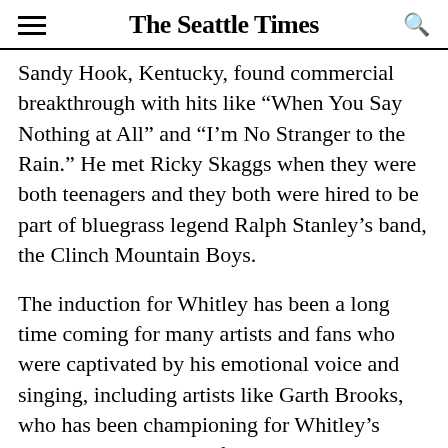The Seattle Times
Sandy Hook, Kentucky, found commercial breakthrough with hits like “When You Say Nothing at All” and “I’m No Stranger to the Rain.” He met Ricky Skaggs when they were both teenagers and they both were hired to be part of bluegrass legend Ralph Stanley’s band, the Clinch Mountain Boys.
The induction for Whitley has been a long time coming for many artists and fans who were captivated by his emotional voice and singing, including artists like Garth Brooks, who has been championing for Whitley’s induction. His widow, fellow country singer Lorrie Morgan, described during the press conference on Tuesday how much it meant to her family and their two children to have him inducted.